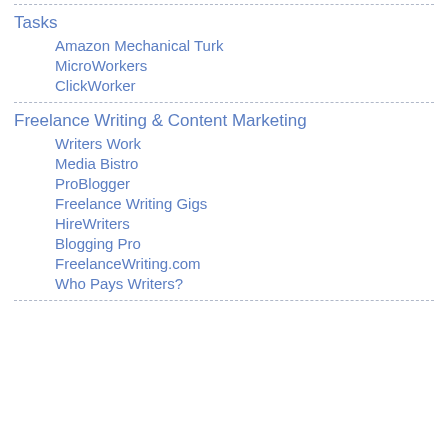Tasks
Amazon Mechanical Turk
MicroWorkers
ClickWorker
Freelance Writing & Content Marketing
Writers Work
Media Bistro
ProBlogger
Freelance Writing Gigs
HireWriters
Blogging Pro
FreelanceWriting.com
Who Pays Writers?